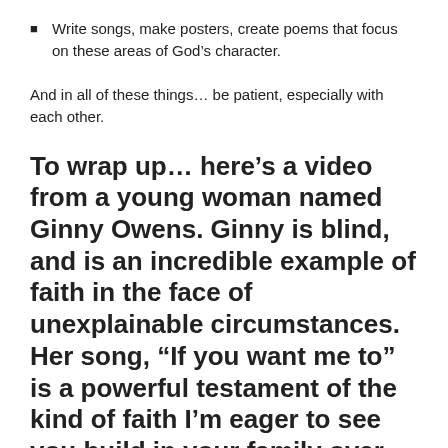Write songs, make posters, create poems that focus on these areas of God’s character.
And in all of these things… be patient, especially with each other.
To wrap up… here’s a video from a young woman named Ginny Owens. Ginny is blind, and is an incredible example of faith in the face of unexplainable circumstances. Her song, “If you want me to” is a powerful testament of the kind of faith I’m eager to see you build in your family over the generations.